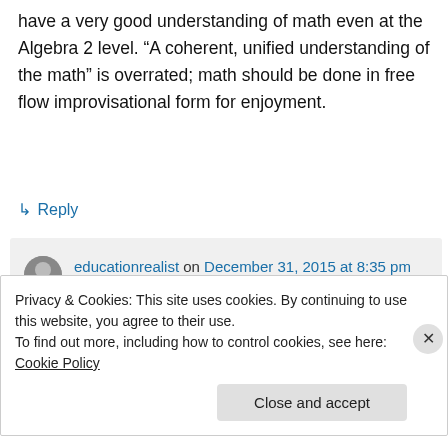have a very good understanding of math even at the Algebra 2 level. “A coherent, unified understanding of the math” is overrated; math should be done in free flow improvisational form for enjoyment.
↳ Reply
educationrealist on December 31, 2015 at 8:35 pm
Privacy & Cookies: This site uses cookies. By continuing to use this website, you agree to their use.
To find out more, including how to control cookies, see here: Cookie Policy
Close and accept